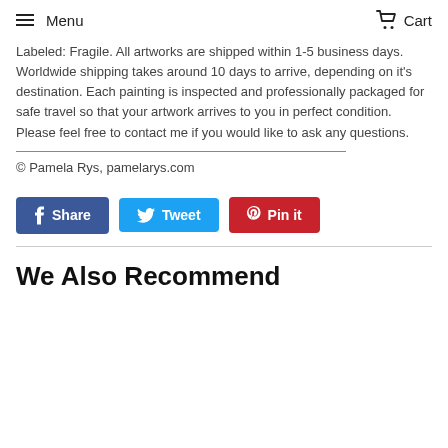Menu  Cart
Labeled: Fragile. All artworks are shipped within 1-5 business days. Worldwide shipping takes around 10 days to arrive, depending on it's destination. Each painting is inspected and professionally packaged for safe travel so that your artwork arrives to you in perfect condition. Please feel free to contact me if you would like to ask any questions.
© Pamela Rys, pamelarys.com
[Figure (other): Social share buttons: Share (Facebook), Tweet (Twitter), Pin it (Pinterest)]
We Also Recommend